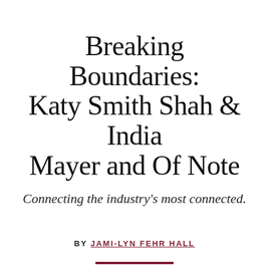Breaking Boundaries: Katy Smith Shah & India Mayer and Of Note
Connecting the industry's most connected.
BY JAMI-LYN FEHR HALL